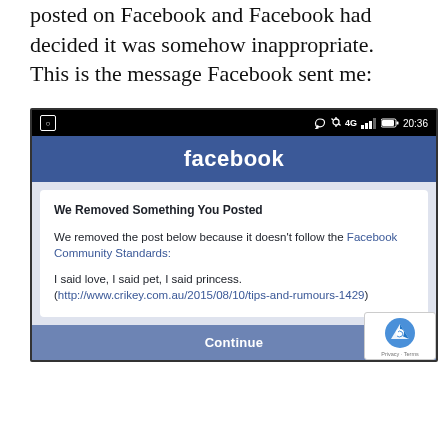posted on Facebook and Facebook had decided it was somehow inappropriate.  This is the message Facebook sent me:
[Figure (screenshot): A screenshot of a Facebook mobile app notification showing 'We Removed Something You Posted' message, with status bar showing 4G, Bluetooth, and 20:36 time. The message reads: 'We removed the post below because it doesn't follow the Facebook Community Standards:' followed by 'I said love, I said pet, I said princess. (http://www.crikey.com.au/2015/08/10/tips-and-rumours-1429)'. A 'Continue' button appears at the bottom.]